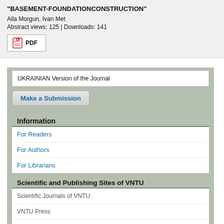"BASEMENT-FOUNDATIONCONSTRUCTION"
Alla Morgun, Ivan Met
Abstract views: 125 | Downloads: 141
PDF
UKRAINIAN Version of the Journal
Make a Submission
Information
For Readers
For Authors
For Librarians
Scientific and Publishing Sites of VNTU
Scientific Journals of VNTU
VNTU Press
Conferences of VNTU